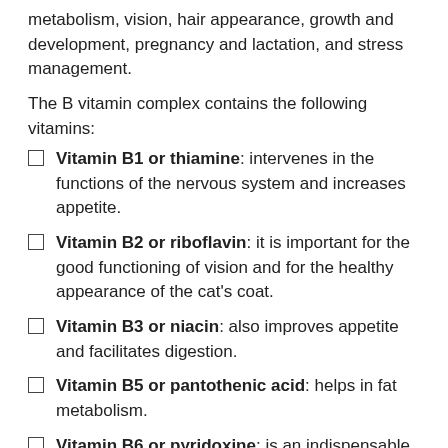metabolism, vision, hair appearance, growth and development, pregnancy and lactation, and stress management.
The B vitamin complex contains the following vitamins:
Vitamin B1 or thiamine: intervenes in the functions of the nervous system and increases appetite.
Vitamin B2 or riboflavin: it is important for the good functioning of vision and for the healthy appearance of the cat's coat.
Vitamin B3 or niacin: also improves appetite and facilitates digestion.
Vitamin B5 or pantothenic acid: helps in fat metabolism.
Vitamin B6 or pyridoxine: is an indispensable vitamin